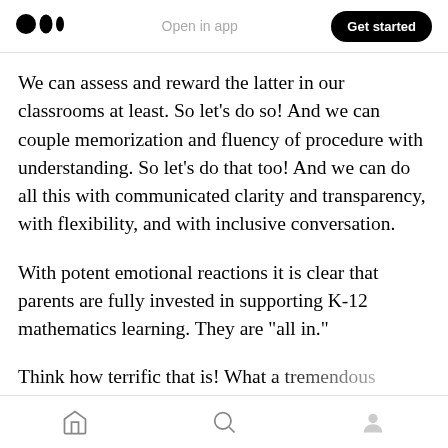Open in app | Get started
We can assess and reward the latter in our classrooms at least. So let’s do so! And we can couple memorization and fluency of procedure with understanding. So let’s do that too! And we can do all this with communicated clarity and transparency, with flexibility, and with inclusive conversation.
With potent emotional reactions it is clear that parents are fully invested in supporting K-12 mathematics learning. They are “all in.”
Think how terrific that is! What a tremendous
Home | Search | Profile